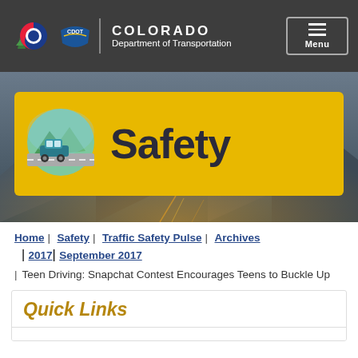[Figure (logo): Colorado Department of Transportation logo with Colorado 'C' symbol and CDOT shield, white text on dark gray header bar with hamburger menu button]
[Figure (illustration): Safety section banner: yellow rounded rectangle with circular car/road icon on left and large bold 'Safety' text, overlaid on dark highway photo background with light streaks]
Home | Safety | Traffic Safety Pulse | Archives | 2017 | September 2017
| Teen Driving: Snapchat Contest Encourages Teens to Buckle Up
Quick Links